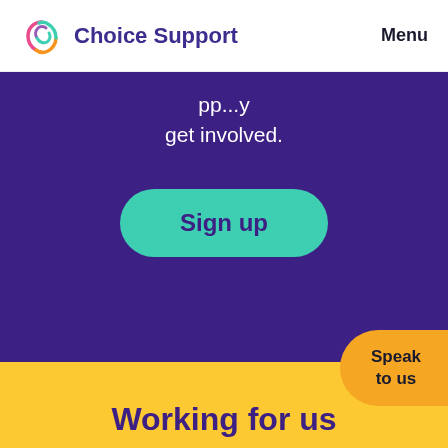Choice Support   Menu
pp...y
get involved.
Sign up
Speak to us
Working for us